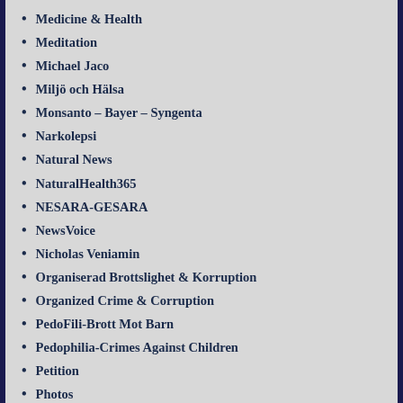Medicine & Health
Meditation
Michael Jaco
Miljö och Hälsa
Monsanto – Bayer – Syngenta
Narkolepsi
Natural News
NaturalHealth365
NESARA-GESARA
NewsVoice
Nicholas Veniamin
Organiserad Brottslighet & Korruption
Organized Crime & Corruption
PedoFili-Brott Mot Barn
Pedophilia-Crimes Against Children
Petition
Photos
Prepare for Change
President Donald J. Trump
Project Veritas
Real Raw News
Rebirth
Sacha Stone
Sarah Westall
SädesCirklar